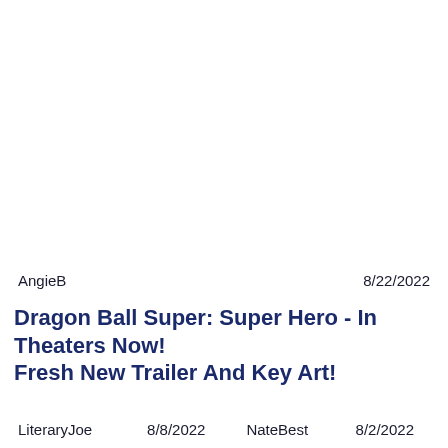AngieB    8/22/2022
Dragon Ball Super: Super Hero - In Theaters Now! Fresh New Trailer And Key Art!
LiteraryJoe    8/8/2022    NateBest    8/2/2022